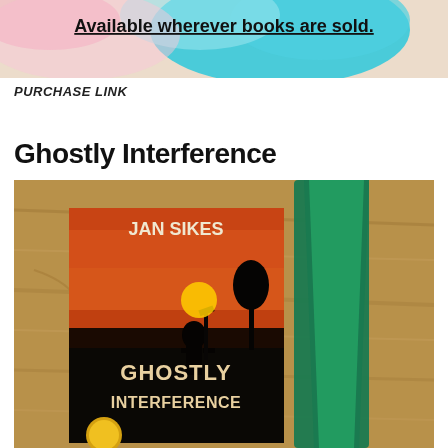[Figure (photo): Top portion of a book cover or promotional image with colorful abstract background featuring teal, blue, and pink brush strokes, with bold underlined text 'Available wherever books are sold.' visible at top]
PURCHASE LINK
Ghostly Interference
[Figure (photo): Photo of the book 'Ghostly Interference' by Jan Sikes placed on a wooden table surface next to a green necktie. The book cover shows a silhouetted figure against a dramatic sunset sky, with the title 'GHOSTLY INTERFERENCE' and author name 'JAN SIKES' displayed prominently.]